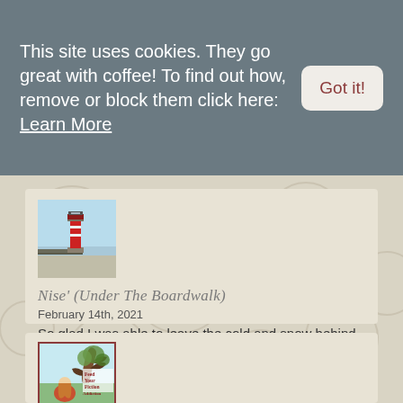This site uses cookies. They go great with coffee! To find out how, remove or block them click here: Learn More
Got it!
[Figure (photo): Photograph of a red lighthouse at the end of a pier over water]
Nise' (Under The Boardwalk)
February 14th, 2021
So glad I was able to leave the cold and snow behind for a few weeks. Stay warm!
[Figure (illustration): Feed Your Fiction Addiction blog logo with illustrated girl under a tree]
Nicole @ Feed Your Fiction Addiction